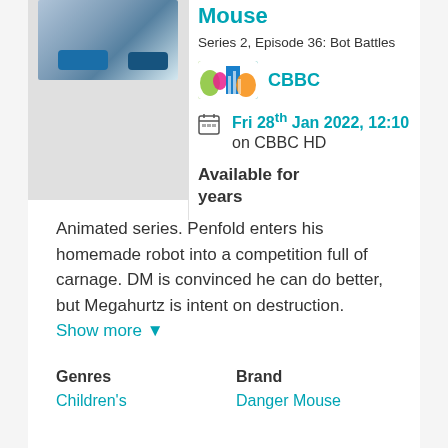[Figure (screenshot): Thumbnail image of animated show Danger Mouse, showing toy robot cars on a track]
Mouse
Series 2, Episode 36: Bot Battles
[Figure (logo): CBBC channel logo with colourful graphic]
CBBC
Fri 28th Jan 2022, 12:10 on CBBC HD
Available for years
Animated series. Penfold enters his homemade robot into a competition full of carnage. DM is convinced he can do better, but Megahurtz is intent on destruction. Show more ▼
Genres
Children's
Brand
Danger Mouse